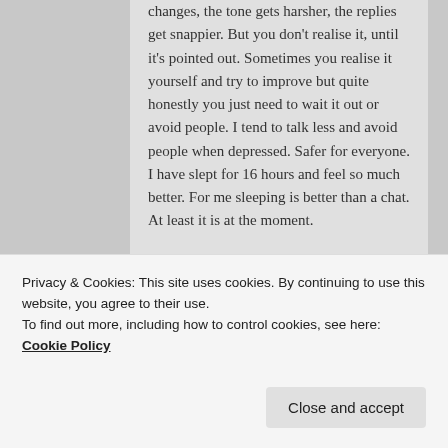changes, the tone gets harsher, the replies get snappier. But you don't realise it, until it's pointed out. Sometimes you realise it yourself and try to improve but quite honestly you just need to wait it out or avoid people. I tend to talk less and avoid people when depressed. Safer for everyone. I have slept for 16 hours and feel so much better. For me sleeping is better than a chat. At least it is at the moment.
★ Liked by 1 person
Log in to Reply
Privacy & Cookies: This site uses cookies. By continuing to use this website, you agree to their use.
To find out more, including how to control cookies, see here: Cookie Policy